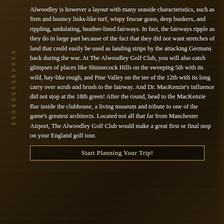Alwoodley is however a layout with many seaside characteristics, such as firm and bouncy links-like turf, wispy fescue grass, deep bunkers, and rippling, undulating, heather-lined fairways. In fact, the fairways ripple as they do in large part because of the fact that they did not want stretches of land that could easily be used as landing strips by the attacking Germans back during the war. At The Alwoodley Golf Club, you will also catch glimpses of places like Shinnecock Hills on the sweeping 5th with its wild, hay-like rough, and Pine Valley on the tee of the 12th with its long carry over scrub and brush to the fairway. And Dr. MacKenzie's influence did not stop at the 18th green! After the round, head to the MacKenzie Bar inside the clubhouse, a living museum and tribute to one of the game's greatest architects. Located not all that far from Manchester Airport, The Alwoodley Golf Club would make a great first or final stop on your England golf tour.
Start Planning Your Trip!